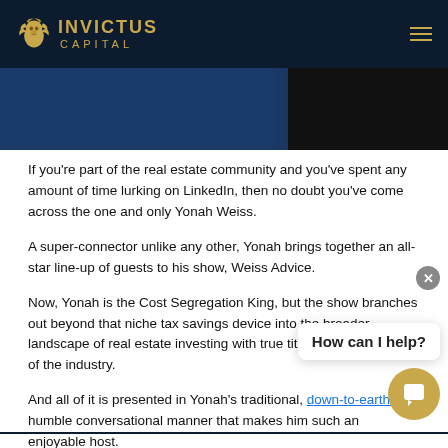INVICTUS CAPITAL
[Figure (photo): Image strip showing a blue background with a dark figure on the right side]
If you're part of the real estate community and you've spent any amount of time lurking on LinkedIn, then no doubt you've come across the one and only Yonah Weiss.
A super-connector unlike any other, Yonah brings together an all-star line-up of guests to his show, Weiss Advice.
Now, Yonah is the Cost Segregation King, but the show branches out beyond that niche tax savings device into the broader landscape of real estate investing with true titans and juggernauts of the industry.
And all of it is presented in Yonah's traditional, down-to-earth, humble conversational manner that makes him such an enjoyable host.
This is one of our favorite multifamily investing podcasts.